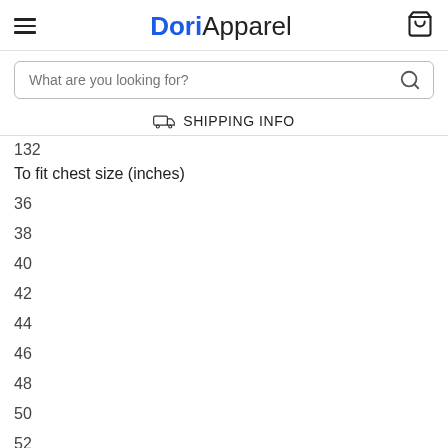DoriApparel
What are you looking for?
SHIPPING INFO
132
To fit chest size (inches)
36
38
40
42
44
46
48
50
52